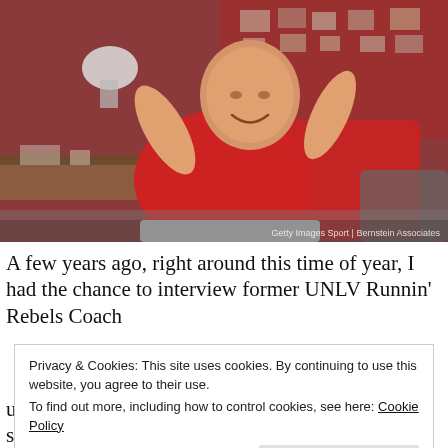[Figure (photo): A bald, smiling man in a red polo shirt leaning back in a red chair with his hands behind his head, sitting in an office with a wood-paneled desk, lamp, and a red bulletin board with photos and papers in the background. Watermark reads: Getty Images Sport | Bernstein Associates]
A few years ago, right around this time of year, I had the chance to interview former UNLV Runnin' Rebels Coach
Privacy & Cookies: This site uses cookies. By continuing to use this website, you agree to their use.
To find out more, including how to control cookies, see here: Cookie Policy
Close and accept
ups and downs of a relationship in the public sphere. So